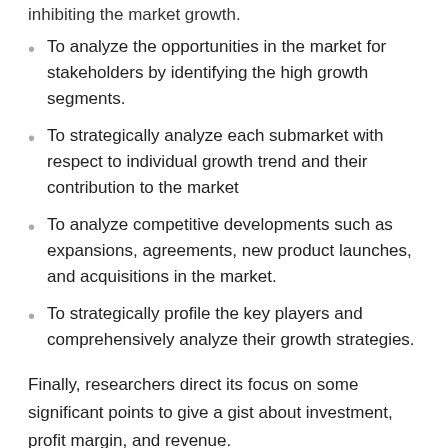inhibiting the market growth.
To analyze the opportunities in the market for stakeholders by identifying the high growth segments.
To strategically analyze each submarket with respect to individual growth trend and their contribution to the market
To analyze competitive developments such as expansions, agreements, new product launches, and acquisitions in the market.
To strategically profile the key players and comprehensively analyze their growth strategies.
Finally, researchers direct its focus on some significant points to give a gist about investment, profit margin, and revenue.